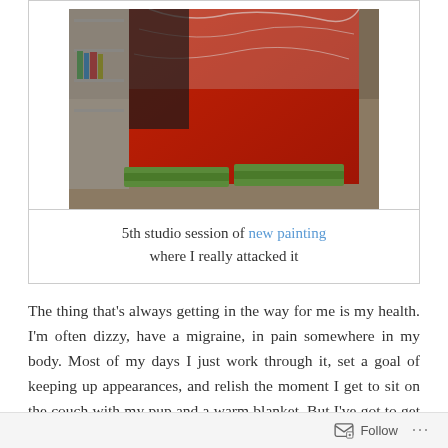[Figure (photo): Photo of a large red painting wrapped in plastic sheeting, resting on green-framed canvases on a carpeted floor, with a metal shelving unit visible on the left side]
5th studio session of new painting where I really attacked it
The thing that's always getting in the way for me is my health. I'm often dizzy, have a migraine, in pain somewhere in my body. Most of my days I just work through it, set a goal of keeping up appearances, and relish the moment I get to sit on the couch with my pup and a warm blanket. But I've got to get in the studio–
Follow ...